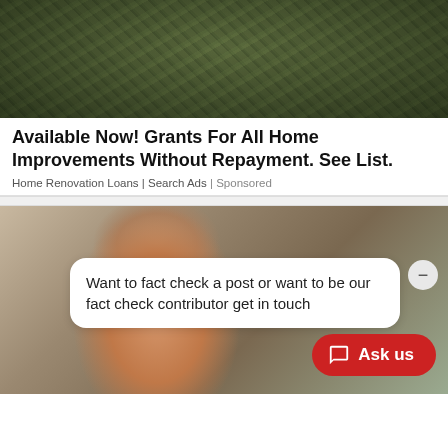[Figure (photo): Pile of bundled US dollar bills stacked in a dark setting]
Available Now! Grants For All Home Improvements Without Repayment. See List.
Home Renovation Loans | Search Ads | Sponsored
[Figure (photo): Middle-aged man sitting on a couch with a blood pressure monitor on his arm, raising his hand. A chat bubble overlay reads: Want to fact check a post or want to be our fact check contributor get in touch. An Ask us button in red is visible at the bottom right.]